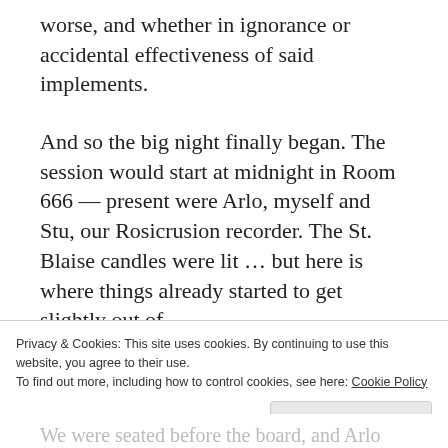worse, and whether in ignorance or accidental effectiveness of said implements.
And so the big night finally began. The session would start at midnight in Room 666 — present were Arlo, myself and Stu, our Rosicrusion recorder. The St. Blaise candles were lit ... but here is where things already started to get slightly out of
Privacy & Cookies: This site uses cookies. By continuing to use this website, you agree to their use.
To find out more, including how to control cookies, see here: Cookie Policy
Close and accept
We were seated before the board, and Arlo